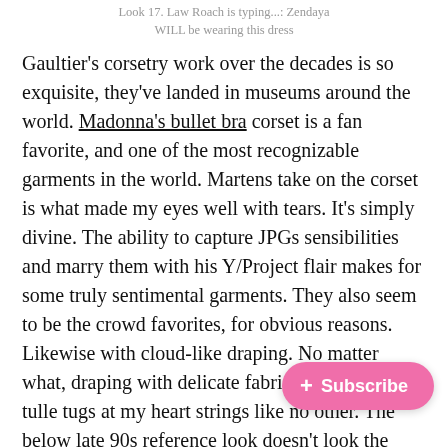Look 17. Law Roach is typing...: Zendaya WILL be wearing this dress
Gaultier's corsetry work over the decades is so exquisite, they've landed in museums around the world. Madonna's bullet bra corset is a fan favorite, and one of the most recognizable garments in the world. Martens take on the corset is what made my eyes well with tears. It's simply divine. The ability to capture JPGs sensibilities and marry them with his Y/Project flair makes for some truly sentimental garments. They also seem to be the crowd favorites, for obvious reasons. Likewise with cloud-like draping. No matter what, draping with delicate fabrics like mesh and tulle tugs at my heart strings like no other. The below late 90s reference look doesn't look the least b... easily see a bombshell like Barbie Fe... red carpet event, or Harry Styles in an editorial shoot.